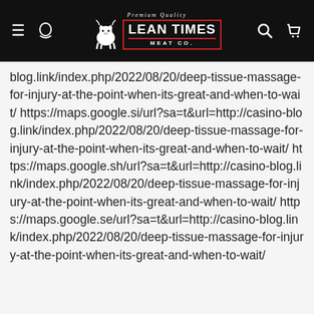Lean Times Meat Co. — Premium Quality
blog.link/index.php/2022/08/20/deep-tissue-massage-for-injury-at-the-point-when-its-great-and-when-to-wait/ https://maps.google.si/url?sa=t&url=http://casino-blog.link/index.php/2022/08/20/deep-tissue-massage-for-injury-at-the-point-when-its-great-and-when-to-wait/ https://maps.google.sh/url?sa=t&url=http://casino-blog.link/index.php/2022/08/20/deep-tissue-massage-for-injury-at-the-point-when-its-great-and-when-to-wait/ https://maps.google.se/url?sa=t&url=http://casino-blog.link/index.php/2022/08/20/deep-tissue-massage-for-injury-at-the-point-when-its-great-and-when-to-wait/